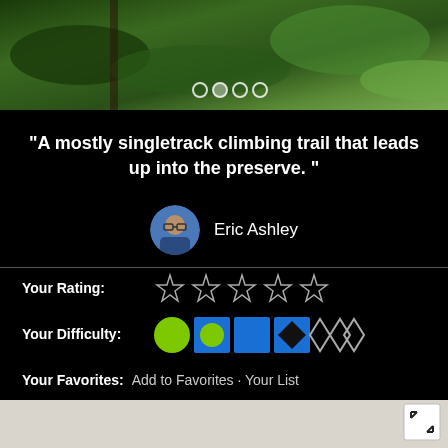[Figure (photo): Forest/nature trail photo banner with navigation dots overlay]
“A mostly singletrack climbing trail that leads up into the preserve. ”
Eric Ashley
Your Rating:
[Figure (other): Five empty star rating icons]
Your Difficulty:
[Figure (other): Difficulty icons: green circle, blue circle in square, blue square, black diamond in square, white diamond, double white diamond]
Your Favorites:  Add to Favorites · Your List
[Figure (map): Map area with expand and location buttons]